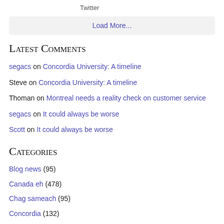Twitter
Load More...
Latest Comments
segacs on Concordia University: A timeline
Steve on Concordia University: A timeline
Thoman on Montreal needs a reality check on customer service
segacs on It could always be worse
Scott on It could always be worse
Categories
Blog news (95)
Canada eh (478)
Chag sameach (95)
Concordia (132)
Entertainment (169)